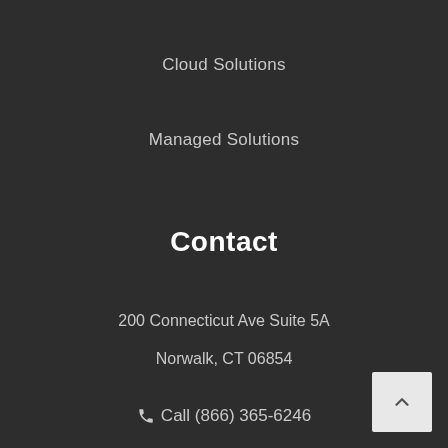Cloud Solutions
Managed Solutions
Contact
200 Connecticut Ave Suite 5A
Norwalk, CT 06854
Call (866) 365-6246